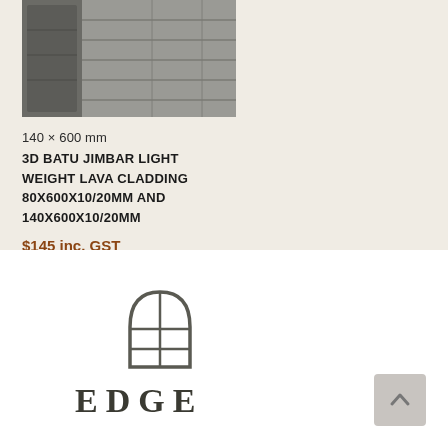[Figure (photo): Photo of stone cladding product - 3D Batu Jimbar lava cladding tiles stacked/installed]
140 × 600 mm
3D BATU JIMBAR LIGHT WEIGHT LAVA CLADDING 80X600X10/20MM AND 140X600X10/20MM
$145 inc. GST
[Figure (logo): EDGE company logo with arched window/door icon above the text EDGE]